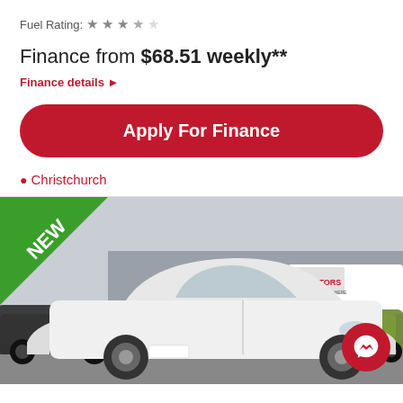Fuel Rating: ★ ★ ★ ☆ ☆
Finance from $68.51 weekly**
Finance details ▶
Apply For Finance
📍 Christchurch
[Figure (photo): Photo of a white Toyota Aqua/Prius C hatchback parked at AJ Motors car dealership in Christchurch. A 'NEW' badge appears in the top-left green triangle corner. A dark SUV is parked behind on the left, and a green small car is visible on the right. A Facebook Messenger button appears in the bottom-right corner.]